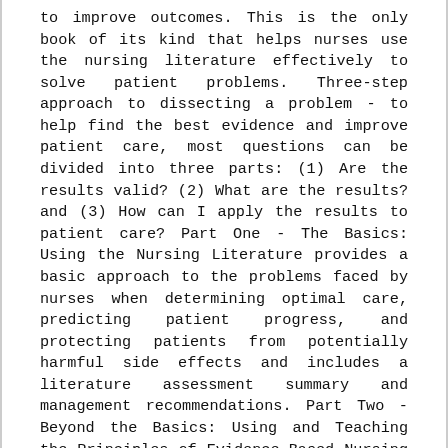to improve outcomes. This is the only book of its kind that helps nurses use the nursing literature effectively to solve patient problems. Three-step approach to dissecting a problem - to help find the best evidence and improve patient care, most questions can be divided into three parts: (1) Are the results valid? (2) What are the results? and (3) How can I apply the results to patient care? Part One - The Basics: Using the Nursing Literature provides a basic approach to the problems faced by nurses when determining optimal care, predicting patient progress, and protecting patients from potentially harmful side effects and includes a literature assessment summary and management recommendations. Part Two - Beyond the Basics: Using and Teaching the Principles of Evidence-Based Nursing expands on Part One, providing concrete examples